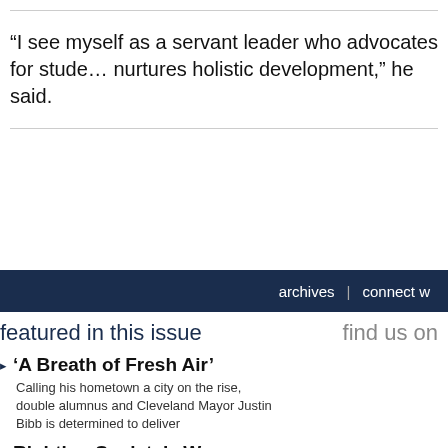“I see myself as a servant leader who advocates for students and nurtures holistic development,” he said.
archives | connect w
featured in this issue
find us on
’A Breath of Fresh Air’ — Calling his hometown a city on the rise, double alumnus and Cleveland Mayor Justin Bibb is determined to deliver
Righting Society’s Wrongs — Alumna Bhavani Raveendran’s passion for justice fuels her civil rights practice and helped George Floyd’s family secure a